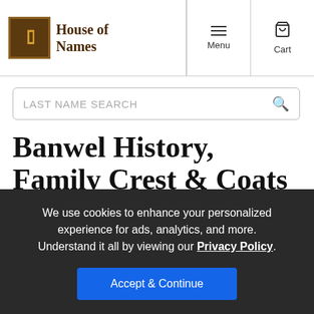House of Names — Menu | Cart
LAST NAME SEARCH
Banwel History, Family Crest & Coats of Arms
Origins Available: England
We use cookies to enhance your personalized experience for ads, analytics, and more. Understand it all by viewing our Privacy Policy.
Accept & Continue